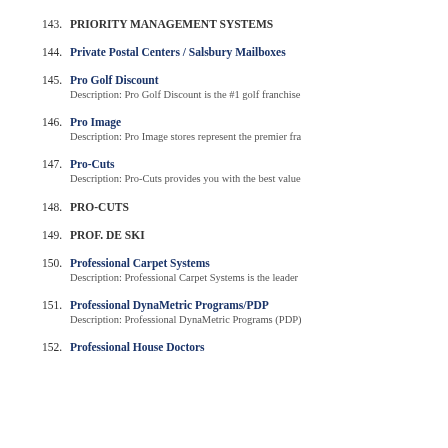143. PRIORITY MANAGEMENT SYSTEMS
144. Private Postal Centers / Salsbury Mailboxes
145. Pro Golf Discount
Description: Pro Golf Discount is the #1 golf franchise
146. Pro Image
Description: Pro Image stores represent the premier fra
147. Pro-Cuts
Description: Pro-Cuts provides you with the best value
148. PRO-CUTS
149. PROF. DE SKI
150. Professional Carpet Systems
Description: Professional Carpet Systems is the leader
151. Professional DynaMetric Programs/PDP
Description: Professional DynaMetric Programs (PDP)
152. Professional House Doctors